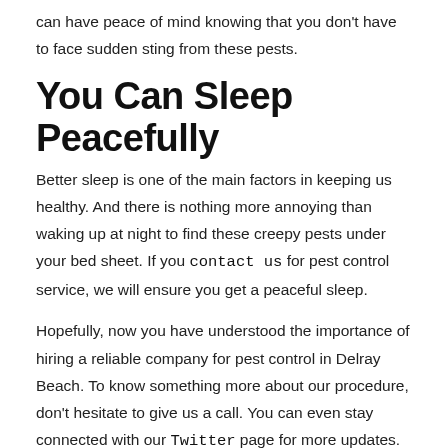can have peace of mind knowing that you don't have to face sudden sting from these pests.
You Can Sleep Peacefully
Better sleep is one of the main factors in keeping us healthy. And there is nothing more annoying than waking up at night to find these creepy pests under your bed sheet. If you contact us for pest control service, we will ensure you get a peaceful sleep.
Hopefully, now you have understood the importance of hiring a reliable company for pest control in Delray Beach. To know something more about our procedure, don't hesitate to give us a call. You can even stay connected with our Twitter page for more updates.
Latest Post
Pro Tips From Pest Control Ser...